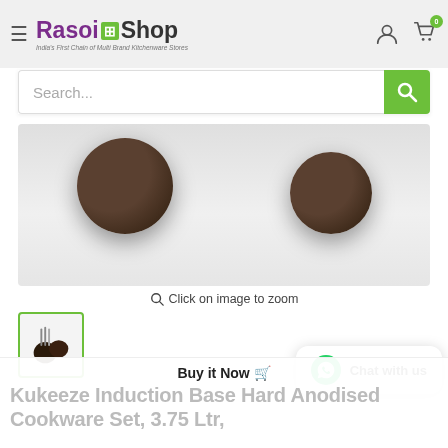Rasoi Shop — India's First Chain of Multi Brand Kitchenware Stores
[Figure (screenshot): Search bar with green search button]
[Figure (photo): Kukeeze hard anodised cookware set — dark pans on light background]
Click on image to zoom
[Figure (photo): Thumbnail of Kukeeze Induction Base Hard Anodised Cookware Set with utensils]
Chat with us
Buy it Now 🛒
Kukeeze Induction Base Hard Anodised Cookware Set, 3.75 Ltr,